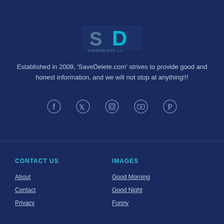[Figure (logo): SaveDelete.com logo with stylized SD letters in teal/blue colors]
Established in 2009, ‘SaveDelete.com’ strives to provide good and honest information, and we will not stop at anything!!!
[Figure (infographic): Social media icons: Facebook, Twitter, Instagram, YouTube, Pinterest]
CONTACT US
IMAGES
About
Contact
Privacy
Good Morning
Good Night
Funny